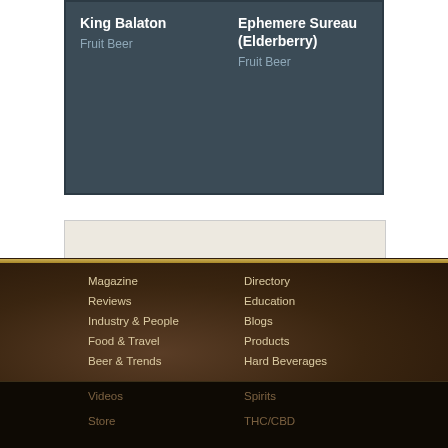King Balaton
Fruit Beer
Ephemere Sureau (Elderberry)
Fruit Beer
[Figure (other): Advertisement placeholder box with light beige/parchment background]
Magazine
Reviews
Industry & People
Food & Travel
Beer & Trends
Directory
Education
Blogs
Products
Hard Beverages
Videos
Store
Spirits
THC/CBD